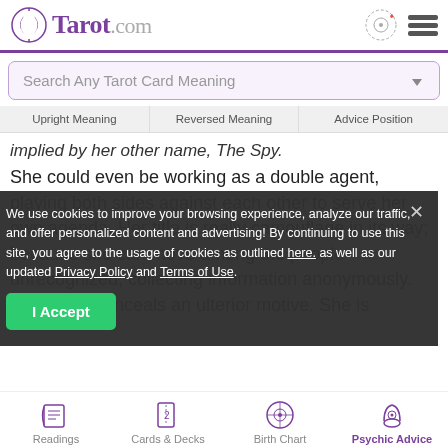Tarot.com
Search Any Tarot Card Meaning
Upright Meaning | Reversed Meaning | Advice Position
implied by her other name, The Spy.
She could even be working as a double agent, playing both sides against each other to serve her own agenda. Her title is really camouflage in its way; because she can move among the people unrecognized, collecting information anonymously. Her vi... conceals an ulterior motive. She is
We use cookies to improve your browsing experience, analyze our traffic, and offer personalized content and advertising! By continuing to use this site, you agree to the usage of cookies as outlined here, as well as our updated Privacy Policy and Terms of Use.
I Accept
Readings | Cards & Decks | Birth Chart | Psychic Advice